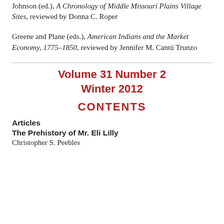Contact and Colonies: Archaeological Perspectives on the Protohistoric Southeast, reviewed by John T. Penman
Johnson (ed.), A Chronology of Middle Missouri Plains Village Sites, reviewed by Donna C. Roper
Greene and Plane (eds.), American Indians and the Market Economy, 1775–1850, reviewed by Jennifer M. Cantú Trunzo
Volume 31 Number 2 Winter 2012
CONTENTS
Articles
The Prehistory of Mr. Eli Lilly
Christopher S. Peebles